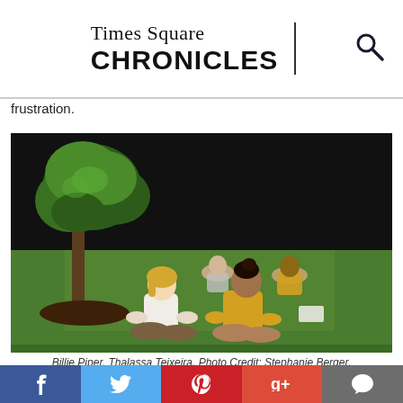Times Square CHRONICLES
frustration.
[Figure (photo): Two women sitting cross-legged on grass facing each other next to a small tree on a stage set. In the background, two more figures sit on the grass. One foreground woman wears a white top, the other a yellow sweater.]
Billie Piper, Thalassa Teixeira. Photo Credit: Stephanie Berger.
Social share bar: Facebook, Twitter, Pinterest, Google+, Comments